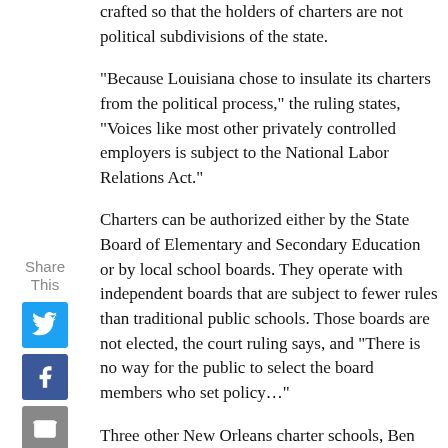crafted so that the holders of charters are not political subdivisions of the state.
"Because Louisiana chose to insulate its charters from the political process," the ruling states, “Voices like most other privately controlled employers is subject to the National Labor Relations Act.”
Charters can be authorized either by the State Board of Elementary and Secondary Education or by local school boards. They operate with independent boards that are subject to fewer rules than traditional public schools. Those boards are not elected, the court ruling says, and “There is no way for the public to select the board members who set policy…”
Three other New Orleans charter schools, Ben Franklin High School, Morris Jeff Community School, and the Mary D. Coghill Charter school, already have collective bargaining agreements